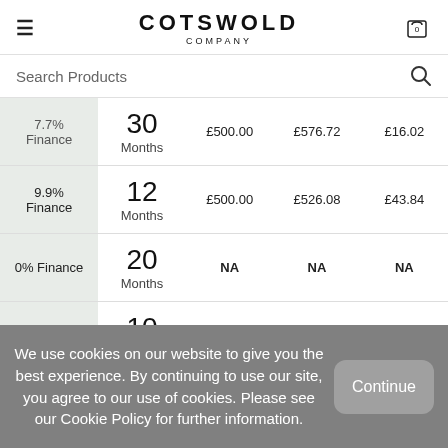COTSWOLD COMPANY
Search Products
| Finance Type | Term | Amount | Total Repayable | Monthly Payment |
| --- | --- | --- | --- | --- |
| 7.7% Finance | 30 Months | £500.00 | £576.72 | £16.02 |
| 9.9% Finance | 12 Months | £500.00 | £526.08 | £43.84 |
| 0% Finance | 20 Months | NA | NA | NA |
| 0% Finance | 10 Months | NA | NA | NA |
We use cookies on our website to give you the best experience. By continuing to use our site, you agree to our use of cookies. Please see our Cookie Policy for further information.